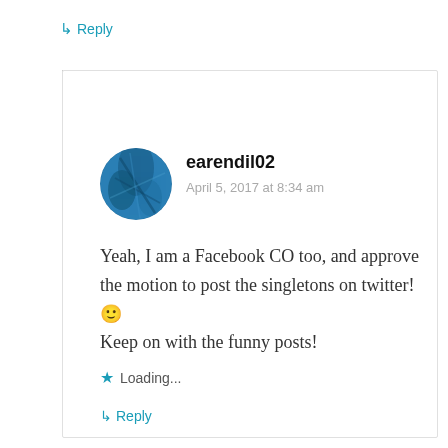↳ Reply
earendil02
April 5, 2017 at 8:34 am
[Figure (illustration): Circular avatar image with blue and dark abstract texture, representing user earendil02]
Yeah, I am a Facebook CO too, and approve the motion to post the singletons on twitter! 🙂 Keep on with the funny posts!
⭐ Loading...
↳ Reply